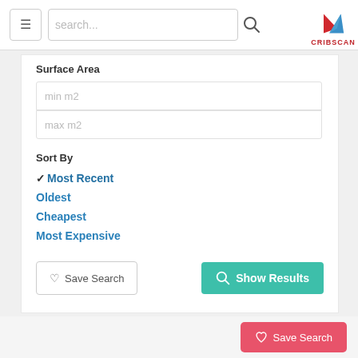[Figure (screenshot): Navigation bar with hamburger menu, search box, and CRIBSCAN logo]
Surface Area
min m2
max m2
Sort By
✔Most Recent
Oldest
Cheapest
Most Expensive
♡ Save Search
🔍 Show Results
♡ Save Search